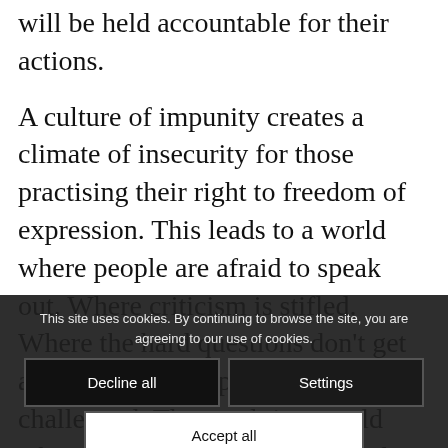will be held accountable for their actions.
A culture of impunity creates a climate of insecurity for those practising their right to freedom of expression. This leads to a world where people are afraid to speak out. Where criticism is stifled. Where the hard questions don't get asked. Where the powerful don't get challenged. The result is a world where free expression is silenced.
This site uses cookies. By continuing to browse the site, you are agreeing to our use of cookies.
Decline all
Settings
Accept all
You ca... paign... this link: https://daytoe.../ake_action/?day=05